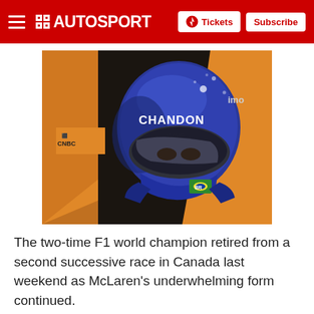AUTOSPORT — Tickets | Subscribe
[Figure (photo): Formula 1 driver in blue helmet with CHANDON and VIVE sponsorship logos, seated in an orange McLaren F1 car with CNBC branding on the bodywork]
The two-time F1 world champion retired from a second successive race in Canada last weekend as McLaren's underwhelming form continued.